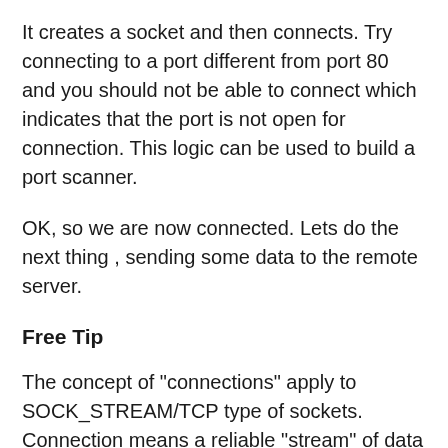It creates a socket and then connects. Try connecting to a port different from port 80 and you should not be able to connect which indicates that the port is not open for connection. This logic can be used to build a port scanner.
OK, so we are now connected. Lets do the next thing , sending some data to the remote server.
Free Tip
The concept of "connections" apply to SOCK_STREAM/TCP type of sockets. Connection means a reliable "stream" of data such that there can be multiple such streams each having communication of its own. Think of this as a pipe which is not interfered by data from other pipes.